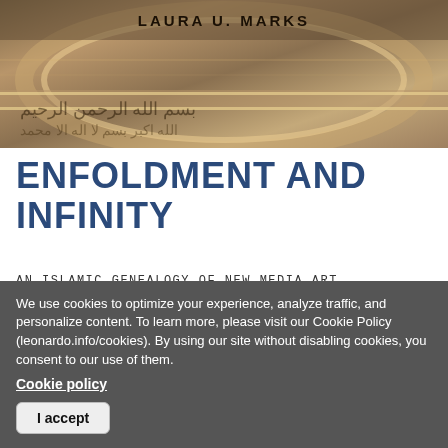[Figure (photo): Book cover image showing decorative Islamic architectural detail with Arabic calligraphy and ornamental patterns in gold and brown tones. Author name 'LAURA U. MARKS' displayed at top center.]
ENFOLDMENT AND INFINITY
AN ISLAMIC GENEALOGY OF NEW MEDIA ART
Tracing the connections—both visual and philosophical—between new media art and classical Islamic art.
We use cookies to optimize your experience, analyze traffic, and personalize content. To learn more, please visit our Cookie Policy (leonardo.info/cookies). By using our site without disabling cookies, you consent to our use of them.
Cookie policy
I accept